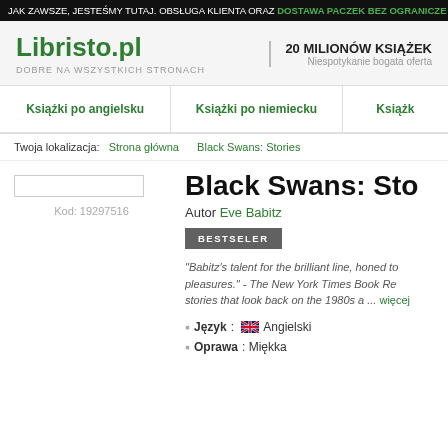JAK ZAWSZE, JESTEŚMY TUTAJ. OBSŁUGA KLIENTA ORAZ DOSTAWA PACZEK BEZ OGRANICZE
Libristo.pl
DOBRE NA WSZYSTKICH STRONACH
20 MILIONÓW KSIĄŻEK Niespotykanie bogata oferta
Książki po angielsku
Książki po niemiecku
Książk
Twoja lokalizacja: Strona główna Black Swans: Stories
Kod: 19297516
Black Swans: Sto
Autor Eve Babitz
BESTSELER
"Babitz's talent for the brilliant line, honed to pleasures." - The New York Times Book Re stories that look back on the 1980s a ... więcej
Język: Angielski
Oprawa: Miękka